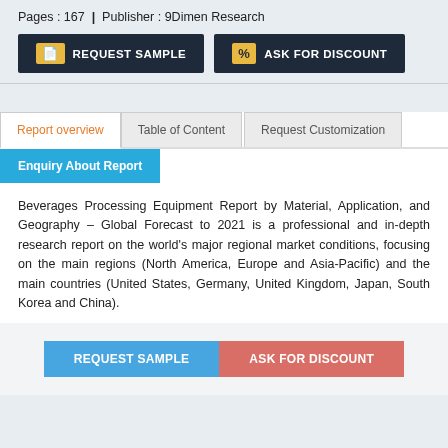Pages : 167  |  Publisher : 9Dimen Research
[Figure (other): Two dark navy buttons: REQUEST SAMPLE (with yellow document icon) and ASK FOR DISCOUNT (with yellow percent icon)]
Report overview | Table of Content | Request Customization | Enquiry About Report
Beverages Processing Equipment Report by Material, Application, and Geography – Global Forecast to 2021 is a professional and in-depth research report on the world's major regional market conditions, focusing on the main regions (North America, Europe and Asia-Pacific) and the main countries (United States, Germany, United Kingdom, Japan, South Korea and China).
[Figure (other): Two overlay CTA buttons at bottom: REQUEST SAMPLE (blue) and ASK FOR DISCOUNT (red)]